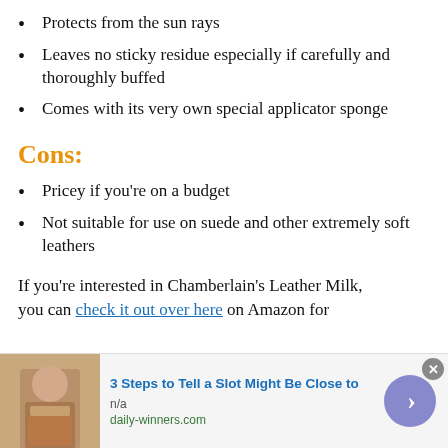Protects from the sun rays
Leaves no sticky residue especially if carefully and thoroughly buffed
Comes with its very own special applicator sponge
Cons:
Pricey if you're on a budget
Not suitable for use on suede and other extremely soft leathers
If you're interested in Chamberlain's Leather Milk, you can check it out over here on Amazon for
[Figure (infographic): Advertisement banner: image of a person wearing a jacket, ad title '3 Steps to Tell a Slot Might Be Close to', source n/a, domain daily-winners.com, with a right-arrow navigation button]